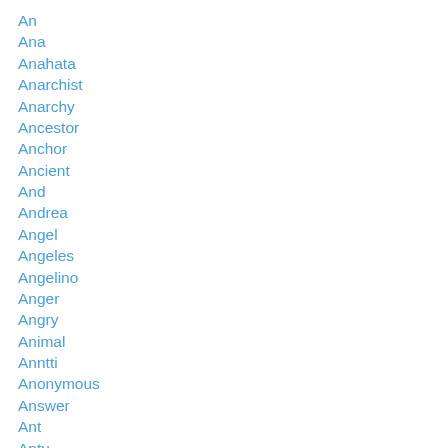An
Ana
Anahata
Anarchist
Anarchy
Ancestor
Anchor
Ancient
And
Andrea
Angel
Angeles
Angelino
Anger
Angry
Animal
Anntti
Anonymous
Answer
Ant
Antu